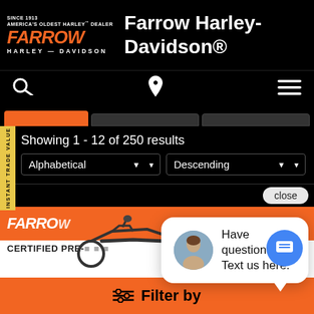[Figure (screenshot): Farrow Harley-Davidson dealer website screenshot showing logo, navigation, search results filters, a chat popup with 'Have questions? Text us here.', and a Filter by bar at the bottom.]